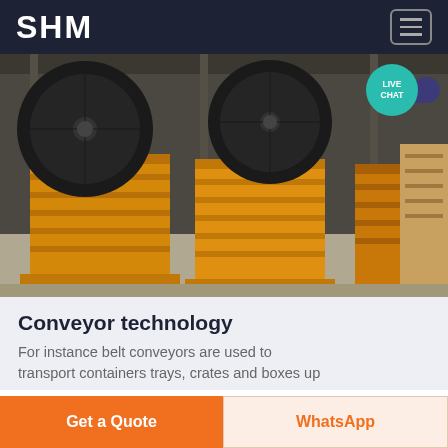SHM
[Figure (photo): Industrial jaw crushers / heavy machinery in yellow-orange color with large black flywheels, photographed in a warehouse setting]
Conveyor technology
For instance belt conveyors are used to transport containers trays, crates and boxes up
Get a Quote
WhatsApp